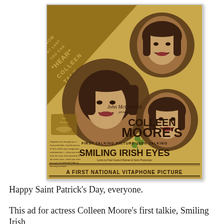[Figure (illustration): Vintage movie poster for 'Smiling Irish Eyes' featuring Colleen Moore. Sepia/tan background with three portrait circles of a woman with a bob haircut. Text reads: 'NOW AT LAST YOU CAN *HEAR* COLLEEN TALK', 'John McCormick presents COLLEEN MOORE'S FIRST TALKING PICTURE-100% TALKING SMILING IRISH EYES', 'A FIRST NATIONAL VITAPHONE PICTURE'. Vitaphone logo visible bottom left of image section.]
Happy Saint Patrick's Day, everyone.
This ad for actress Colleen Moore's first talkie, Smiling Irish